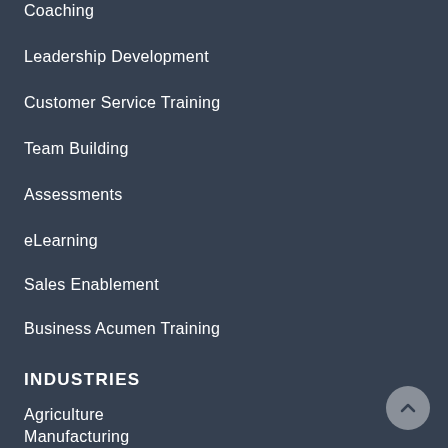Coaching
Leadership Development
Customer Service Training
Team Building
Assessments
eLearning
Sales Enablement
Business Acumen Training
INDUSTRIES
Agriculture
Manufacturing